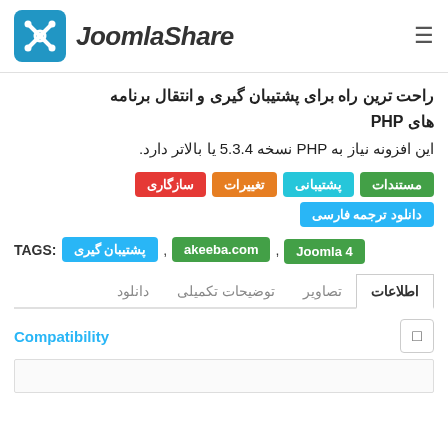JoomlaShare
راحت ترین راه برای پشتیبان گیری و انتقال برنامه های PHP
این افزونه نیاز به PHP نسخه 5.3.4 یا بالاتر دارد.
سازگاری
تغییرات
پشتیبانی
مستندات
دانلود ترجمه فارسی
TAGS: پشتیبان گیری , akeeba.com , Joomla 4
اطلاعات | تصاویر | توضیحات تکمیلی | دانلود
Compatibility